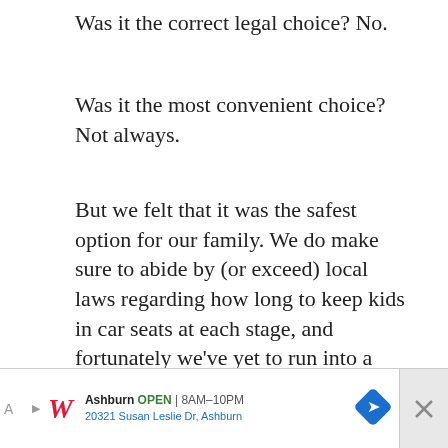Was it the correct legal choice? No.
Was it the most convenient choice? Not always.
But we felt that it was the safest option for our family. We do make sure to abide by (or exceed) local laws regarding how long to keep kids in car seats at each stage, and fortunately we've yet to run into a problem.
Incidentally, we've also used those car seat seats on our flights every time. It's the safest option for our kids and ensures that the seats arrive undamaged (or arrive at all,
[Figure (other): Social interaction buttons: heart/like button (blue circle with heart icon) and share button, with count '20' between them]
[Figure (other): What's Next promotional box showing 'Best travel car seat options...' with a thumbnail image of a child in a car seat]
[Figure (other): Advertisement banner: Walgreens ad showing 'Ashburn OPEN 8AM-10PM, 20321 Susan Leslie Dr, Ashburn' with Walgreens logo and navigation icon]